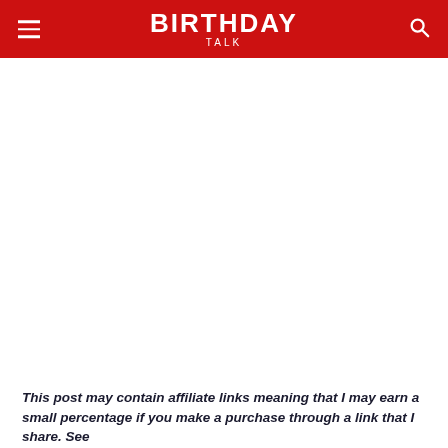BIRTHDAY TALK
This post may contain affiliate links meaning that I may earn a small percentage if you make a purchase through a link that I share. See